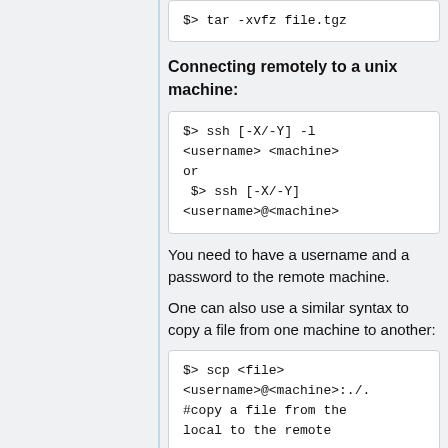$> tar -xvfz file.tgz
Connecting remotely to a unix machine:
$> ssh [-X/-Y] -l <username> <machine>
or
 $> ssh [-X/-Y] <username>@<machine>
You need to have a username and a password to the remote machine.
One can also use a similar syntax to copy a file from one machine to another:
$> scp <file> <username>@<machine>:./.
#copy a file from the
local to the remote